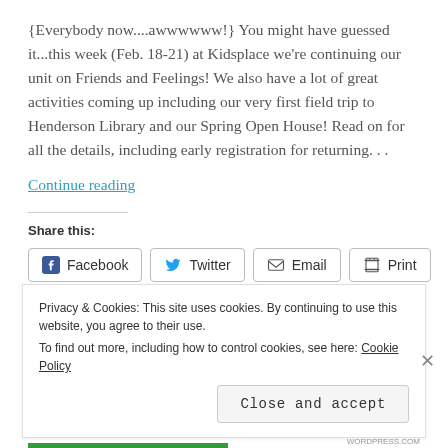{Everybody now....awwwwww!} You might have guessed it...this week (Feb. 18-21) at Kidsplace we're continuing our unit on Friends and Feelings! We also have a lot of great activities coming up including our very first field trip to Henderson Library and our Spring Open House! Read on for all the details, including early registration for returning. . .
Continue reading
Share this:
Facebook  Twitter  Email  Print
Privacy & Cookies: This site uses cookies. By continuing to use this website, you agree to their use.
To find out more, including how to control cookies, see here: Cookie Policy
Close and accept